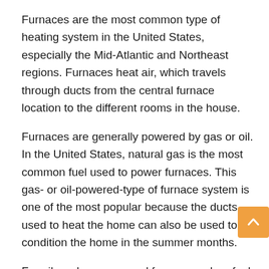Furnaces are the most common type of heating system in the United States, especially the Mid-Atlantic and Northeast regions. Furnaces heat air, which travels through ducts from the central furnace location to the different rooms in the house.
Furnaces are generally powered by gas or oil. In the United States, natural gas is the most common fuel used to power furnaces. This gas- or oil-powered-type of furnace system is one of the most popular because the ducts used to heat the home can also be used to air condition the home in the summer months.
For oil- and gas-powered furnaces, when fuel burns it heats up a metal piece called the heat exchanger, which then turns the burnt fuel into heat in the form of warm air. Depending on how old the furnace is, the vent to rid the furnace of its exhaust will work differently. Newer models are the most effective and energy efficient in this process. While old furnaces rely on flue pipes, newer furnaces